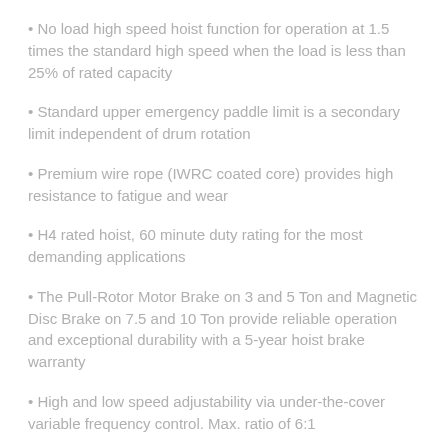No load high speed hoist function for operation at 1.5 times the standard high speed when the load is less than 25% of rated capacity
Standard upper emergency paddle limit is a secondary limit independent of drum rotation
Premium wire rope (IWRC coated core) provides high resistance to fatigue and wear
H4 rated hoist, 60 minute duty rating for the most demanding applications
The Pull-Rotor Motor Brake on 3 and 5 Ton and Magnetic Disc Brake on 7.5 and 10 Ton provide reliable operation and exceptional durability with a 5-year hoist brake warranty
High and low speed adjustability via under-the-cover variable frequency control. Max. ratio of 6:1